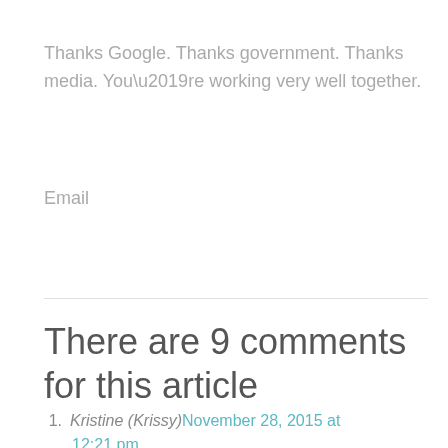Thanks Google.  Thanks government.  Thanks media.  You’re working very well together.
Email
There are 9 comments for this article
1. Kristine (Krissy)November 28, 2015 at 12:21 pm